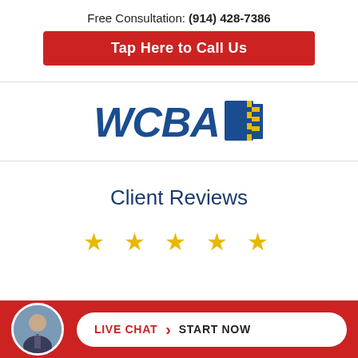Free Consultation: (914) 428-7386
Tap Here to Call Us
[Figure (logo): WCBA logo with blue bold italic text and a book/flag icon in blue and yellow stripes]
Client Reviews
★ ★ ★ ★ ★
LIVE CHAT › START NOW